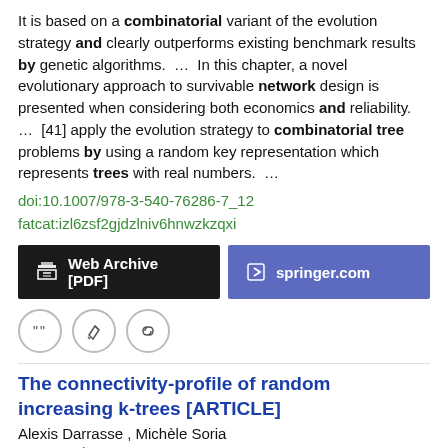It is based on a combinatorial variant of the evolution strategy and clearly outperforms existing benchmark results by genetic algorithms.  ...  In this chapter, a novel evolutionary approach to survivable network design is presented when considering both economics and reliability.  ...  [41] apply the evolution strategy to combinatorial tree problems by using a random key representation which represents trees with real numbers.  ...
doi:10.1007/978-3-540-76286-7_12
fatcat:izl6zsf2gjdzlniv6hnwzkzqxi
[Figure (other): Two buttons: 'Web Archive [PDF]' (dark/black background) and 'springer.com' (purple background), and three icon circles (quote, edit, link)]
The connectivity-profile of random increasing k-trees [ARTICLE]
Alexis Darrasse , Michèle Soria
2009 arXiv  PRE-PRINT
Random increasing k-trees represent an interesting, useful class of strongly dependent graphs for which analytic-combinatorial tools can be successfully applied.  ...  We study in this paper a notion called connectivity-profile and derive asymptotic estimates for it.